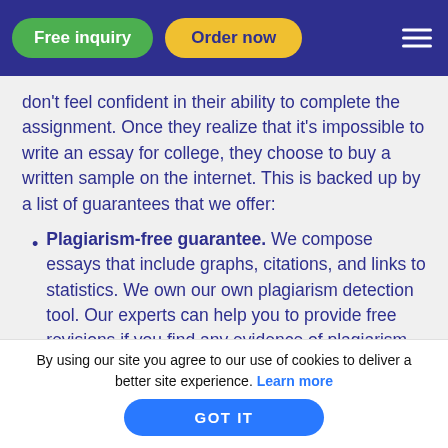Free inquiry | Order now
don't feel confident in their ability to complete the assignment. Once they realize that it's impossible to write an essay for college, they choose to buy a written sample on the internet. This is backed up by a list of guarantees that we offer:
Plagiarism-free guarantee. We compose essays that include graphs, citations, and links to statistics. We own our own plagiarism detection tool. Our experts can help you to provide free revisions if you find any evidence of plagiarism within the essay you have received.
By using our site you agree to our use of cookies to deliver a better site experience. Learn more
GOT IT